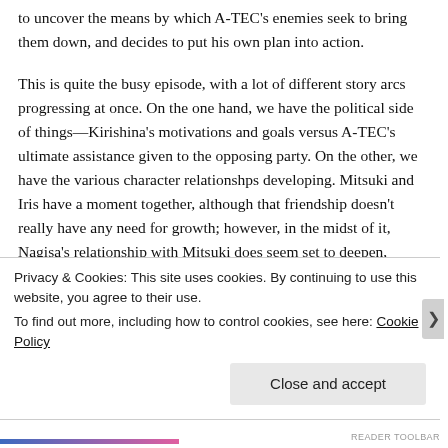to uncover the means by which A-TEC's enemies seek to bring them down, and decides to put his own plan into action.
This is quite the busy episode, with a lot of different story arcs progressing at once. On the one hand, we have the political side of things—Kirishina's motivations and goals versus A-TEC's ultimate assistance given to the opposing party. On the other, we have the various character relationshps developing. Mitsuki and Iris have a moment together, although that friendship doesn't really have any need for growth; however, in the midst of it, Nagisa's relationship with Mitsuki does seem set to deepen, depending on his actions. There is also a brief moment
Privacy & Cookies: This site uses cookies. By continuing to use this website, you agree to their use.
To find out more, including how to control cookies, see here: Cookie Policy